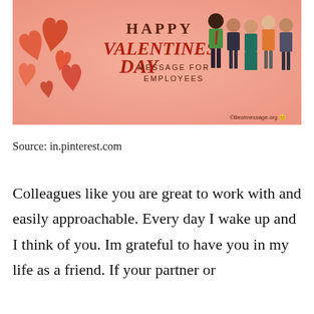[Figure (illustration): Valentine's Day message for employees banner. Peach/salmon background with 3D red heart balloons on left, illustrated group of diverse office employees on right, text 'HAPPY VALENTINES DAY MESSAGE FOR EMPLOYEES' in center. Copyright mark: ©Bestmessage.org]
Source: in.pinterest.com
Colleagues like you are great to work with and easily approachable. Every day I wake up and I think of you. Im grateful to have you in my life as a friend. If your partner or the...